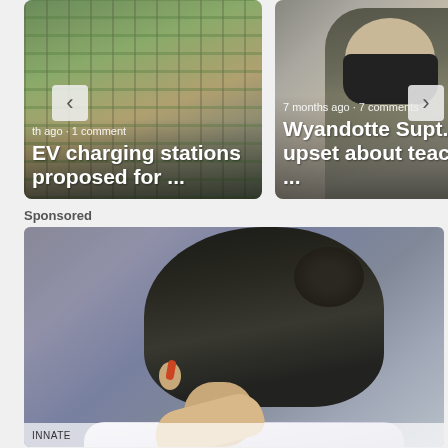[Figure (photo): News carousel card — aerial view photo with overlay text: metadata '... ago · 1 comment' and headline 'EV charging stations proposed for ...']
[Figure (photo): News carousel card — person wearing black mask photo with overlay text: '7 months ago · 7 comments' and headline 'Wyandotte Supt. Cost upset about teacher ...']
Sponsored
[Figure (photo): Sponsored photo showing a person from behind, dark hair in a bun, wearing a white/light shirt, hand on neck, in an indoor setting.]